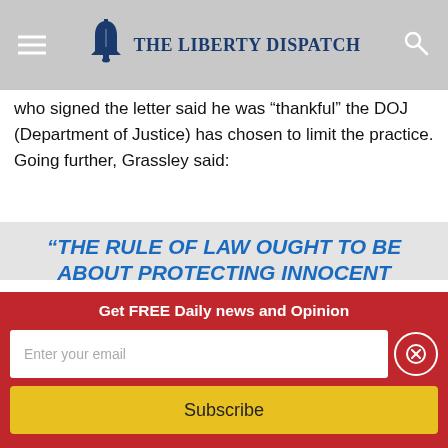The Liberty Dispatch
who signed the letter said he was “thankful” the DOJ (Department of Justice) has chosen to limit the practice. Going further, Grassley said:
“THE RULE OF LAW OUGHT TO BE ABOUT PROTECTING INNOCENT PEOPLE.” “TOO OFTEN WE’VE SEEN JUST THE OPPOSITE WITH CIVIL ASSET FORFEITURE LAWS. THE PRACTICE UP TO THIS POINT HAD
Get FREE Daily news and Opinion
Enter your email
Subscribe